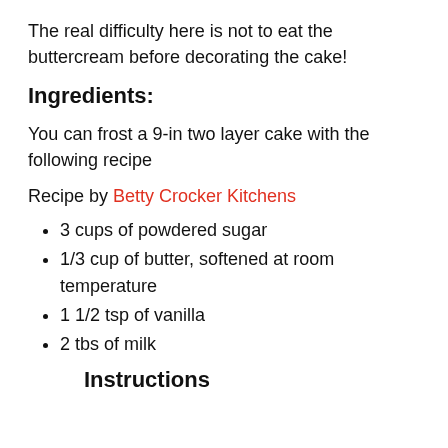The real difficulty here is not to eat the buttercream before decorating the cake!
Ingredients:
You can frost a 9-in two layer cake with the following recipe
Recipe by Betty Crocker Kitchens
3 cups of powdered sugar
1/3 cup of butter, softened at room temperature
1 1/2 tsp of vanilla
2 tbs of milk
Instructions